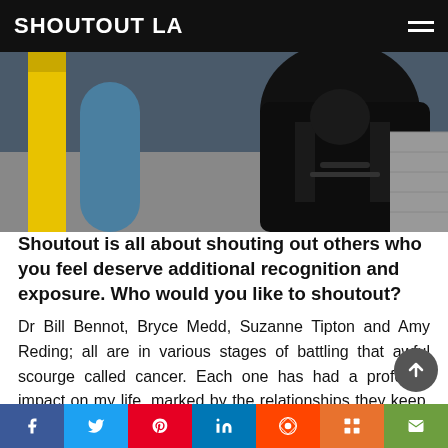SHOUTOUT LA
[Figure (photo): Close-up photo of a person in a black leather jacket, with a yellow pillar and blue background visible]
Shoutout is all about shouting out others who you feel deserve additional recognition and exposure. Who would you like to shoutout?
Dr Bill Bennot, Bryce Medd, Suzanne Tipton and Amy Reding; all are in various stages of battling that awful scourge called cancer. Each one has had a profound impact on my life, marked by the relationships they keep, the faith they demonstrate daily and their courage in refusing to give in to this relentless disease. “Live like you are dying”